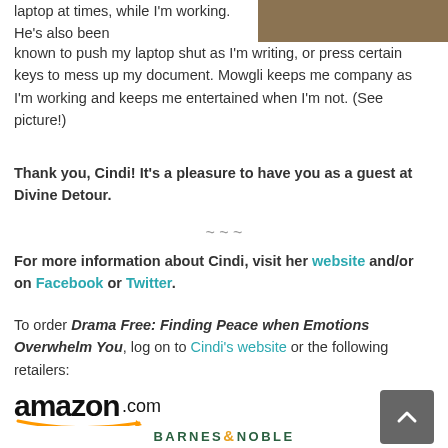[Figure (photo): Partial photo of a cat or pet on a surface, cropped at top right]
laptop at times, while I'm working. He's also been known to push my laptop shut as I'm writing, or press certain keys to mess up my document. Mowgli keeps me company as I'm working and keeps me entertained when I'm not. (See picture!)
Thank you, Cindi! It's a pleasure to have you as a guest at Divine Detour.
~ ~ ~
For more information about Cindi, visit her website and/or on Facebook or Twitter.
To order Drama Free: Finding Peace when Emotions Overwhelm You, log on to Cindi's website or the following retailers:
[Figure (logo): Amazon.com logo with smile]
[Figure (logo): Barnes & Noble logo]